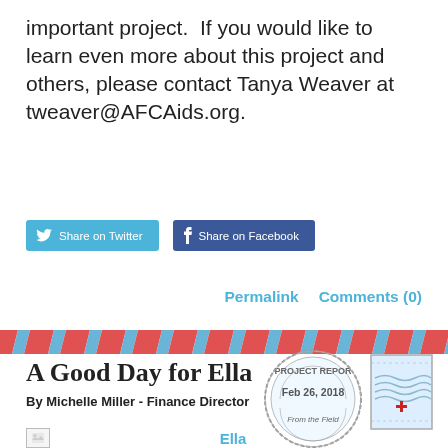important project.  If you would like to learn even more about this project and others, please contact Tanya Weaver at tweaver@AFCAids.org.
[Figure (other): Share on Twitter and Share on Facebook social media buttons]
Permalink    Comments (0)
[Figure (other): Decorative diagonal stripe divider banner in red and blue]
A Good Day for Ella
By Michelle Miller - Finance Director
[Figure (other): PROJECT REPORT stamp circular seal with date Feb 26, 2018, From the Field, with postage stamp illustration]
[Figure (photo): Broken image placeholder with Ella caption link]
Ella